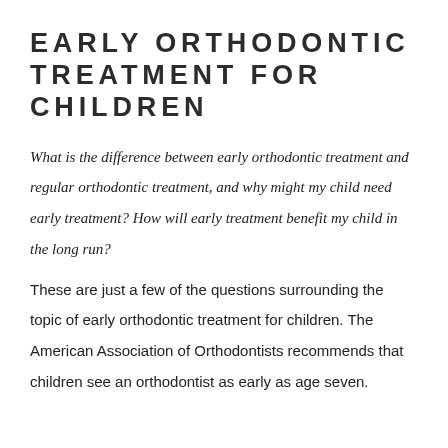EARLY ORTHODONTIC TREATMENT FOR CHILDREN
What is the difference between early orthodontic treatment and regular orthodontic treatment, and why might my child need early treatment? How will early treatment benefit my child in the long run?
These are just a few of the questions surrounding the topic of early orthodontic treatment for children. The American Association of Orthodontists recommends that children see an orthodontist as early as age seven.